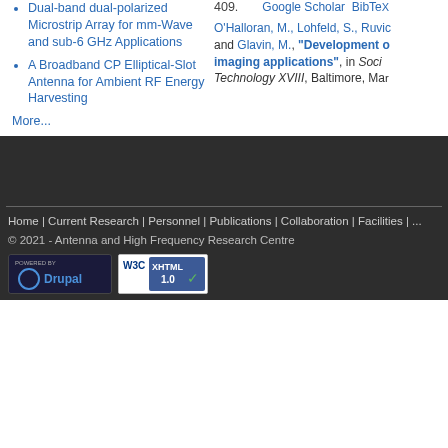Dual-band dual-polarized Microstrip Array for mm-Wave and sub-6 GHz Applications
A Broadband CP Elliptical-Slot Antenna for Ambient RF Energy Harvesting
More...
409.   Google Scholar  BibTeX
O'Halloran, M., Lohfeld, S., Ruvio, ... and Glavin, M., "Development of ... imaging applications", in Society ... Technology XVIII, Baltimore, Mar...
Home | Current Research | Personnel | Publications | Collaboration | Facilities | ...
© 2021 - Antenna and High Frequency Research Centre